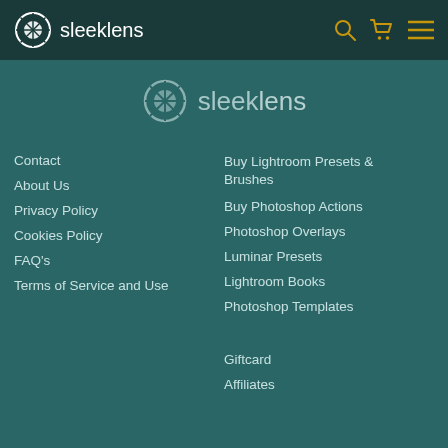sleeklens — header navigation bar with logo, search, cart, and menu icons
[Figure (logo): sleeklens logo with camera aperture icon and brand name in header]
[Figure (logo): sleeklens logo centered in teal main area]
Contact
About Us
Privacy Policy
Cookies Policy
FAQ's
Terms of Service and Use
Buy Lightroom Presets & Brushes
Buy Photoshop Actions
Photoshop Overlays
Luminar Presets
Lightroom Books
Photoshop Templates
Giftcard
Affiliates